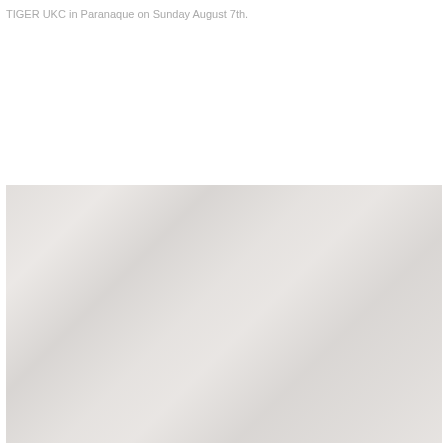TIGER UKC in Paranaque on Sunday August 7th.
[Figure (photo): A faded/washed-out photograph, mostly white with very faint outlines of what appears to be a group scene, occupying the lower portion of the page.]